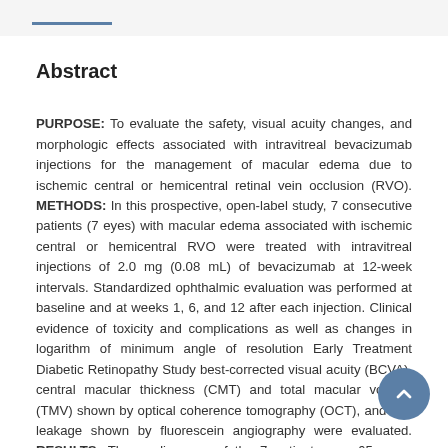Abstract
PURPOSE: To evaluate the safety, visual acuity changes, and morphologic effects associated with intravitreal bevacizumab injections for the management of macular edema due to ischemic central or hemicentral retinal vein occlusion (RVO). METHODS: In this prospective, open-label study, 7 consecutive patients (7 eyes) with macular edema associated with ischemic central or hemicentral RVO were treated with intravitreal injections of 2.0 mg (0.08 mL) of bevacizumab at 12-week intervals. Standardized ophthalmic evaluation was performed at baseline and at weeks 1, 6, and 12 after each injection. Clinical evidence of toxicity and complications as well as changes in logarithm of minimum angle of resolution Early Treatment Diabetic Retinopathy Study best-corrected visual acuity (BCVA), central macular thickness (CMT) and total macular volume (TMV) shown by optical coherence tomography (OCT), and dye leakage shown by fluorescein angiography were evaluated. RESULTS: The median age of the 7 patients was 65 years (range, 58-74 years), and the median